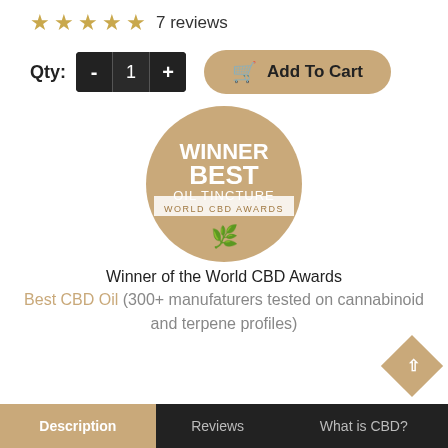★ ★ ★ ★ ★ 7 reviews
Qty: - 1 + Add To Cart
[Figure (illustration): Round tan/gold badge with white text: WINNER BEST OIL TINCTURE, WORLD CBD AWARDS, with a cannabis leaf icon at the bottom.]
Winner of the World CBD Awards
Best CBD Oil (300+ manufaturers tested on cannabinoid and terpene profiles)
Description  Reviews  What is CBD?